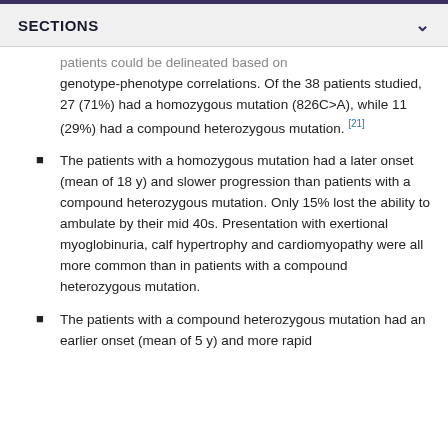SECTIONS
patients could be delineated based on genotype-phenotype correlations. Of the 38 patients studied, 27 (71%) had a homozygous mutation (826C>A), while 11 (29%) had a compound heterozygous mutation. [21]
The patients with a homozygous mutation had a later onset (mean of 18 y) and slower progression than patients with a compound heterozygous mutation. Only 15% lost the ability to ambulate by their mid 40s. Presentation with exertional myoglobinuria, calf hypertrophy and cardiomyopathy were all more common than in patients with a compound heterozygous mutation.
The patients with a compound heterozygous mutation had an earlier onset (mean of 5 y) and more rapid progression. All but the ability…